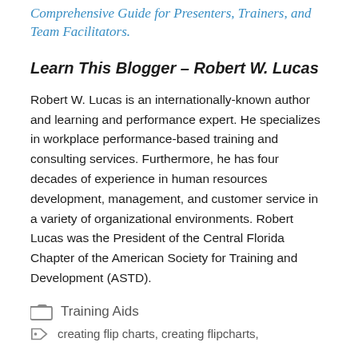Comprehensive Guide for Presenters, Trainers, and Team Facilitators.
Learn This Blogger – Robert W. Lucas
Robert W. Lucas is an internationally-known author and learning and performance expert. He specializes in workplace performance-based training and consulting services. Furthermore, he has four decades of experience in human resources development, management, and customer service in a variety of organizational environments. Robert Lucas was the President of the Central Florida Chapter of the American Society for Training and Development (ASTD).
Training Aids
creating flip charts, creating flipcharts,